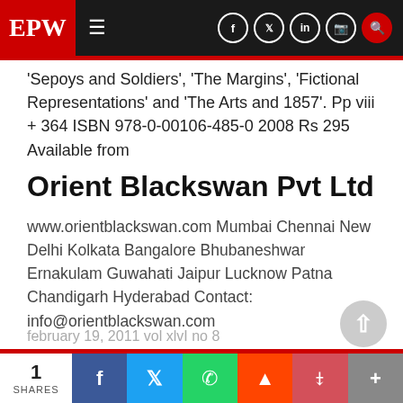EPW
'Sepoys and Soldiers', 'The Margins', 'Fictional Representations' and 'The Arts and 1857'. Pp viii + 364 ISBN 978-0-00106-485-0 2008 Rs 295
Available from
Orient Blackswan Pvt Ltd
www.orientblackswan.com Mumbai Chennai New Delhi Kolkata Bangalore Bhubaneshwar Ernakulam Guwahati Jaipur Lucknow Patna Chandigarh Hyderabad Contact: info@orientblackswan.com
february 19, 2011 vol xlvI no 8
1 SHARES